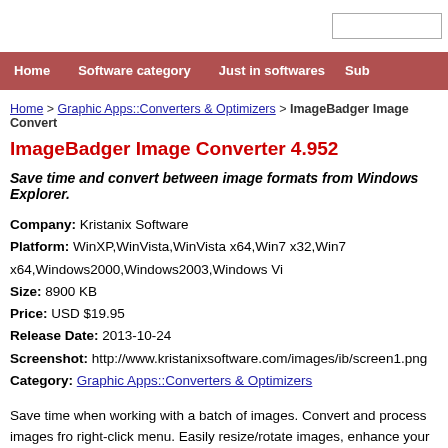Home  Software category  Just in softwares  Sub
Home > Graphic Apps::Converters & Optimizers > ImageBadger Image Converter
ImageBadger Image Converter 4.952
Save time and convert between image formats from Windows Explorer.
Company: Kristanix Software
Platform: WinXP,WinVista,WinVista x64,Win7 x32,Win7 x64,Windows2000,Windows2003,Windows Vi
Size: 8900 KB
Price: USD $19.95
Release Date: 2013-10-24
Screenshot: http://www.kristanixsoftware.com/images/ib/screen1.png
Category: Graphic Apps::Converters & Optimizers
Save time when working with a batch of images. Convert and process images from right-click menu. Easily resize/rotate images, enhance your images with more than create icon, make thumbnail image and much more! ImageBadger is a cutting-ed processing and image conversion software which supports over 140+ image form JPEG, BMP, PNG, GIF, ICON, PSD. All features are available through commandli